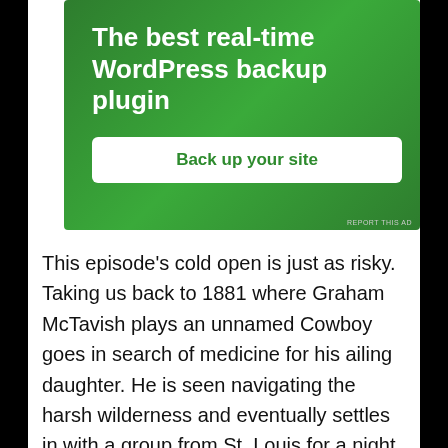[Figure (infographic): Green advertisement banner for a WordPress backup plugin. White bold text reads 'The best real-time WordPress backup plugin' with a white rounded button saying 'Back up your site' in green text.]
REPORT THIS AD
This episode’s cold open is just as risky. Taking us back to 1881 where Graham McTavish plays an unnamed Cowboy goes in search of medicine for his ailing daughter. He is seen navigating the harsh wilderness and eventually settles in with a group from St. Louis for a night. His journey takes him to the town of Ratwater where a tree full of hanging Native Americans with their injures showcased...